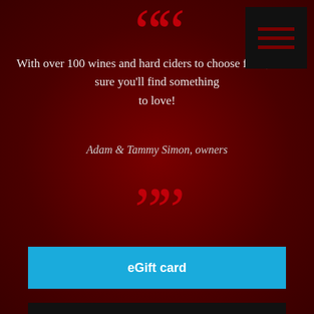[Figure (illustration): Hamburger menu icon — three dark red horizontal lines on black square background, positioned top right]
““
With over 100 wines and hard ciders to choose from, we're sure you'll find something to love!
Adam & Tammy Simon, owners
””
eGift card
Order Now for Curbside Pickup
[Figure (illustration): White envelope / email icon]
+ SHARE